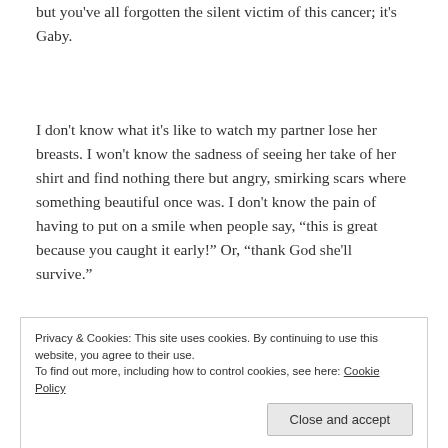but you've all forgotten the silent victim of this cancer; it's Gaby.
I don't know what it's like to watch my partner lose her breasts. I won't know the sadness of seeing her take of her shirt and find nothing there but angry, smirking scars where something beautiful once was. I don't know the pain of having to put on a smile when people say, "this is great because you caught it early!" Or, "thank God she'll survive."
Privacy & Cookies: This site uses cookies. By continuing to use this website, you agree to their use.
To find out more, including how to control cookies, see here: Cookie Policy